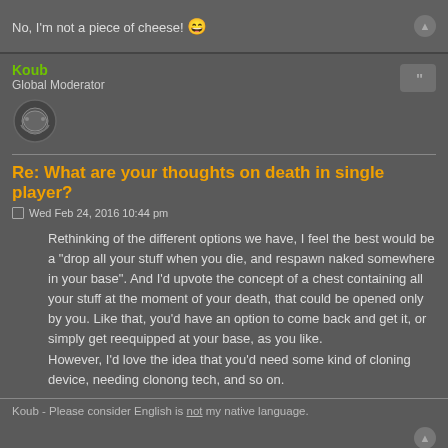No, I'm not a piece of cheese! 😄
Koub
Global Moderator
Re: What are your thoughts on death in single player?
Wed Feb 24, 2016 10:44 pm
Rethinking of the different options we have, I feel the best would be a "drop all your stuff when you die, and respawn naked somewhere in your base". And I'd upvote the concept of a chest containing all your stuff at the moment of your death, that could be opened only by you. Like that, you'd have an option to come back and get it, or simply get reequipped at your base, as you like.
However, I'd love the idea that you'd need some kind of cloning device, needing clonong tech, and so on.
Koub - Please consider English is not my native language.
tetryon
Fast Inserter